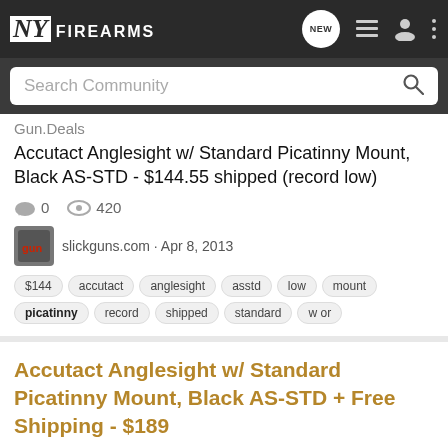NY FIREARMS
Search Community
Gun.Deals
Accutact Anglesight w/ Standard Picatinny Mount, Black AS-STD - $144.55 shipped (record low)
0 comments  420 views
slickguns.com · Apr 8, 2013
$144  accutact  anglesight  asstd  low  mount  picatinny  record  shipped  standard  w or
Accutact Anglesight w/ Standard Picatinny Mount, Black AS-STD + Free Shipping - $189
Gun.Deals
Accutact Anglesight w/ Standard Picatinny Mount, Black AS-STD + Free Shipping - $189 (record low)